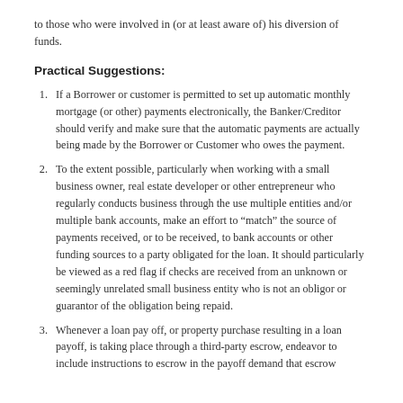to those who were involved in (or at least aware of) his diversion of funds.
Practical Suggestions:
If a Borrower or customer is permitted to set up automatic monthly mortgage (or other) payments electronically, the Banker/Creditor should verify and make sure that the automatic payments are actually being made by the Borrower or Customer who owes the payment.
To the extent possible, particularly when working with a small business owner, real estate developer or other entrepreneur who regularly conducts business through the use multiple entities and/or multiple bank accounts, make an effort to “match” the source of payments received, or to be received, to bank accounts or other funding sources to a party obligated for the loan. It should particularly be viewed as a red flag if checks are received from an unknown or seemingly unrelated small business entity who is not an obligor or guarantor of the obligation being repaid.
Whenever a loan pay off, or property purchase resulting in a loan payoff, is taking place through a third-party escrow, endeavor to include instructions to escrow in the payoff demand that escrow